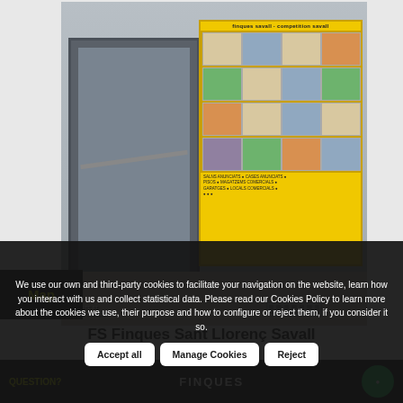[Figure (photo): Storefront photo of FS Finques Sant Llorenç Savall real estate agency. Shows glass door entrance on left, and a large yellow display board on the right filled with property listing photos in a grid layout. Ground level with pavement and ventilation grille visible.]
Map
FS Finques Sant Llorenç Savall
We use our own and third-party cookies to facilitate your navigation on the website, learn how you interact with us and collect statistical data. Please read our Cookies Policy to learn more about the cookies we use, their purpose and how to configure or reject them, if you consider it so.
Accept all
Manage Cookies
Reject
QUESTION?
FINQUES